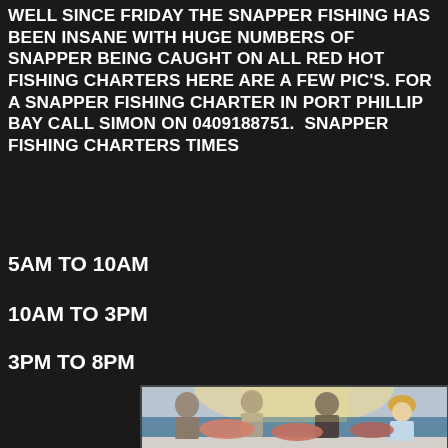WELL SINCE FRIDAY THE SNAPPER FISHING HAS BEEN INSANE WITH HUGE NUMBERS OF SNAPPER BEING CAUGHT ON ALL RED HOT FISHING CHARTERS HERE ARE A FEW PIC'S. FOR A SNAPPER FISHING CHARTER IN PORT PHILLIP BAY CALL SIMON ON 0409188751.  SNAPPER FISHING CHARTERS TIMES
5AM TO 10AM
10AM TO 3PM
3PM TO 8PM
[Figure (photo): Four people standing on a boat holding large snapper fish. The background shows the ocean. People are wearing hats including a white cap, a dark cap, and a straw cowboy hat. The photo is taken at sunset or sunrise with bright light in the background.]